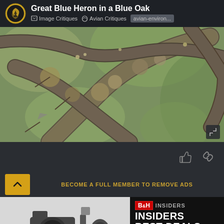Great Blue Heron in a Blue Oak | Image Critiques | Avian Critiques | avian-environ...
[Figure (photo): Close-up photograph of lichen-covered oak branches (Blue Oak) with a Great Blue Heron partially visible, set against a green bokeh background]
[Figure (photo): B&H Photo advertisement banner showing camera equipment on the left (grayscale) and 'B&H INSIDERS BEST DEALS 10/13' text on the right dark background]
BECOME A FULL MEMBER TO REMOVE ADS